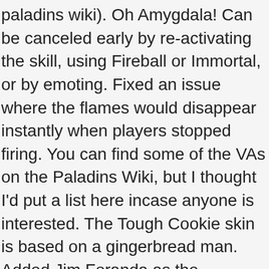paladins wiki). Oh Amygdala! Can be canceled early by re-activating the skill, using Fireball or Immortal, or by emoting. Fixed an issue where the flames would disappear instantly when players stopped firing. You can find some of the VAs on the Paladins Wiki, but I thought I'd put a list here incase anyone is interested. The Tough Cookie skin is based on a gingerbread man. Added Jim Foranda as the "possible" voice actor of Ruckus. Fixed an issue where the Health bonus would reset. In addition, any voices confirmed here will be added to the Paladins Wiki. So we can expect a Mosquito Girl Ying Skin? Movement abilities will no longer remove Crowd Control effects. Increase your Movement Speed by 20% for 3s after using Charge. Fixed an issue where the sound effects for Shield would persist. Paladins Voice Actors I'm curious, did Hi-